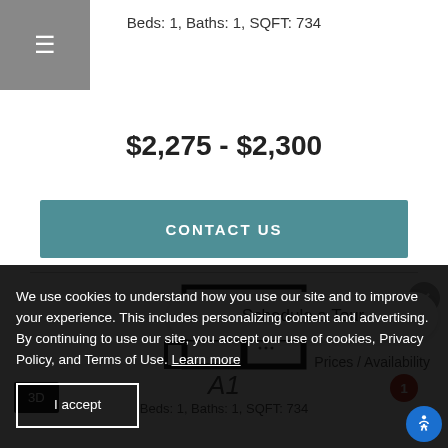☰
Beds: 1, Baths: 1, SQFT: 734
$2,275 - $2,300
CONTACT US
[Figure (illustration): Apartment floor plan layout showing rooms and layout dimensions]
Schedule a Tour
Prices / Availability
A1
Beds: 1, Baths: 1, SQFT: 734
3D
We use cookies to understand how you use our site and to improve your experience. This includes personalizing content and advertising.
By continuing to use our site, you accept our use of cookies, Privacy Policy, and Terms of Use. Learn more
I accept